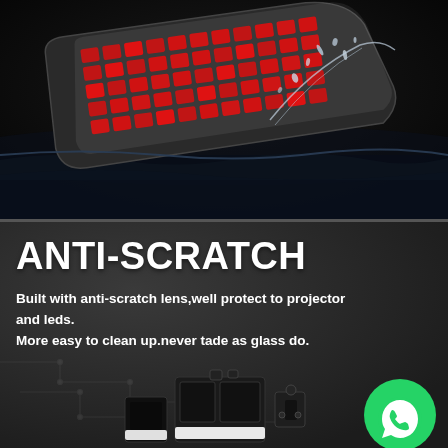[Figure (photo): A keyboard or automotive tail light with red LED arrays partially submerged in water, water splashing around it on a dark background, showing waterproof feature]
ANTI-SCRATCH
Built with anti-scratch lens,well protect to projector and leds. More easy to clean up.never tade as glass do.
[Figure (photo): Dark panel with circuit-board-style line patterns and automotive LED tail light components/hardware in the lower portion, with a WhatsApp logo badge in the bottom-right corner]